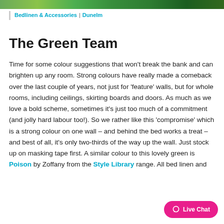[Figure (photo): Top strip image showing green nature/foliage scene]
Bedlinen & Accessories | Dunelm
The Green Team
Time for some colour suggestions that won't break the bank and can brighten up any room. Strong colours have really made a comeback over the last couple of years, not just for ‘feature’ walls, but for whole rooms, including ceilings, skirting boards and doors. As much as we love a bold scheme, sometimes it’s just too much of a commitment (and jolly hard labour too!). So we rather like this ‘compromise’ which is a strong colour on one wall – and behind the bed works a treat – and best of all, it’s only two-thirds of the way up the wall. Just stock up on masking tape first. A similar colour to this lovely green is Poison by Zoffany from the Style Library range. All bed linen and